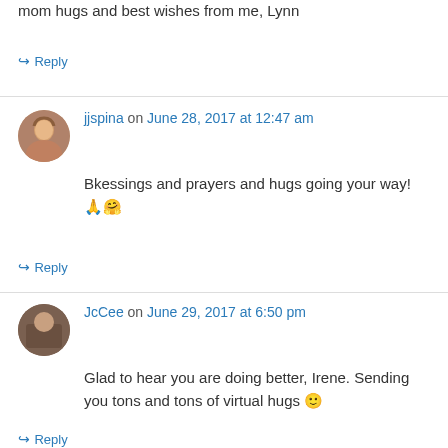mom hugs and best wishes from me, Lynn
↪ Reply
jjspina on June 28, 2017 at 12:47 am
Bkessings and prayers and hugs going your way! 🙏🤗
↪ Reply
JcCee on June 29, 2017 at 6:50 pm
Glad to hear you are doing better, Irene. Sending you tons and tons of virtual hugs 🙂
↪ Reply